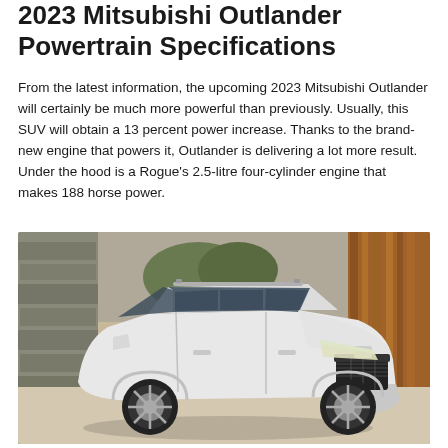2023 Mitsubishi Outlander Powertrain Specifications
From the latest information, the upcoming 2023 Mitsubishi Outlander will certainly be much more powerful than previously. Usually, this SUV will obtain a 13 percent power increase. Thanks to the brand-new engine that powers it, Outlander is delivering a lot more result. Under the hood is a Rogue's 2.5-litre four-cylinder engine that makes 188 horse power.
[Figure (photo): A white 2023 Mitsubishi Outlander SUV parked in front of a building with stone and wood walls, viewed from a front three-quarter angle.]